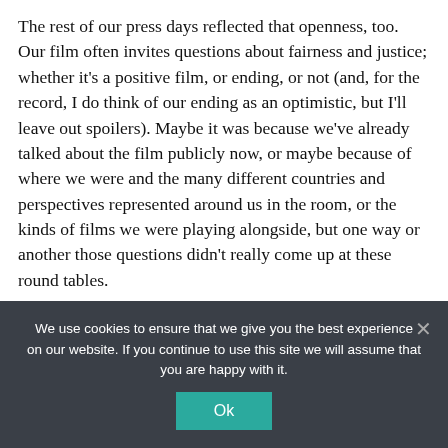The rest of our press days reflected that openness, too. Our film often invites questions about fairness and justice; whether it's a positive film, or ending, or not (and, for the record, I do think of our ending as an optimistic, but I'll leave out spoilers). Maybe it was because we've already talked about the film publicly now, or maybe because of where we were and the many different countries and perspectives represented around us in the room, or the kinds of films we were playing alongside, but one way or another those questions didn't really come up at these round tables.
I'm nervous to see if or how tomorrow's premiere will be different, too.
We use cookies to ensure that we give you the best experience on our website. If you continue to use this site we will assume that you are happy with it.